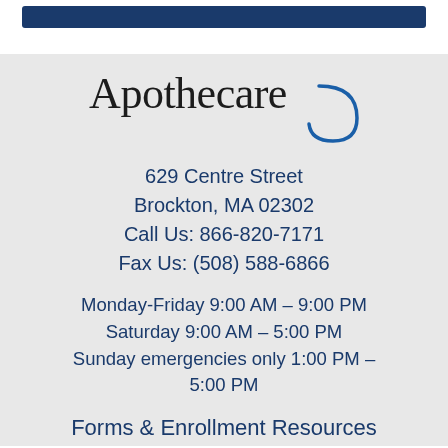[Figure (logo): Apothecare logo with text 'Apothecare' in serif font and a blue swoosh/arc graphic to the right]
629 Centre Street
Brockton, MA 02302
Call Us: 866-820-7171
Fax Us: (508) 588-6866
Monday-Friday 9:00 AM – 9:00 PM
Saturday 9:00 AM – 5:00 PM
Sunday emergencies only 1:00 PM – 5:00 PM
Forms & Enrollment Resources